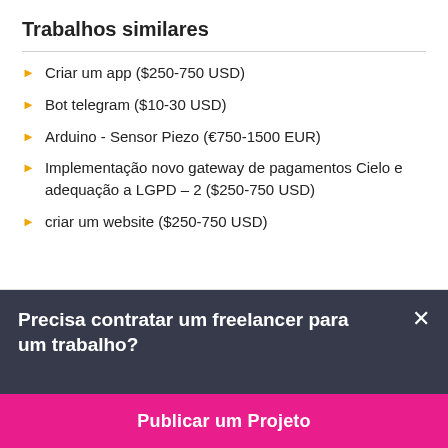Trabalhos similares
Criar um app ($250-750 USD)
Bot telegram ($10-30 USD)
Arduino - Sensor Piezo (€750-1500 EUR)
Implementação novo gateway de pagamentos Cielo e adequação a LGPD – 2 ($250-750 USD)
criar um website ($250-750 USD)
Precisa contratar um freelancer para um trabalho?
Publicar um Projeto